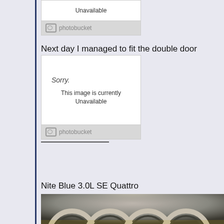[Figure (screenshot): Photobucket unavailable image placeholder at top of page]
Next day I managed to fit the double door
[Figure (screenshot): Photobucket unavailable image placeholder showing 'Sorry. This image is currently Unavailable']
Nite Blue 3.0L SE Quattro
[Figure (photo): Close-up photo of Audi four-ring logo badge in chrome, on a dark blurred background]